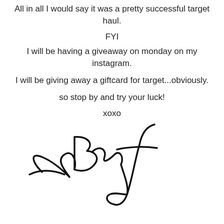All in all I would say it was a pretty successful target haul.
FYI
I will be having a giveaway on monday on my instagram.
I will be giving away a giftcard for target...obviously.
so stop by and try your luck!
xoxo
[Figure (illustration): Handwritten signature in black ink]